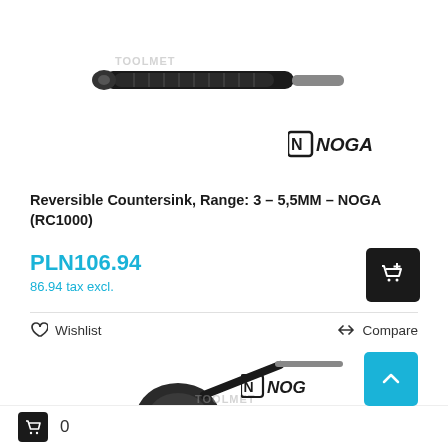[Figure (photo): Black Noga reversible countersink tool with knurled handle, diagonal view on white background]
[Figure (logo): NOGA brand logo with stylized N bracket]
Reversible Countersink, Range: 3 - 5,5MM - NOGA (RC1000)
PLN106.94
86.94 tax excl.
Wishlist
Compare
[Figure (photo): Black Noga countersink tool with conical head and L-shaped handle, front view on white background]
[Figure (logo): NOGA brand logo partially visible at bottom right]